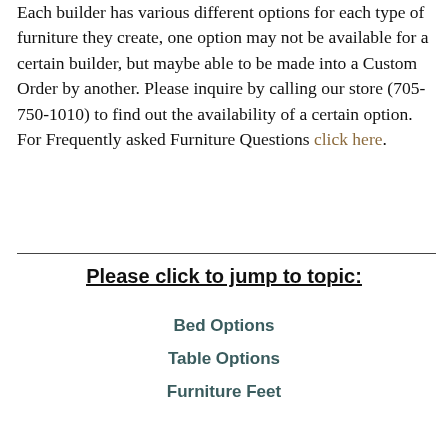Each builder has various different options for each type of furniture they create, one option may not be available for a certain builder, but maybe able to be made into a Custom Order by another. Please inquire by calling our store (705-750-1010) to find out the availability of a certain option. For Frequently asked Furniture Questions click here.
Please click to jump to topic:
Bed Options
Table Options
Furniture Feet